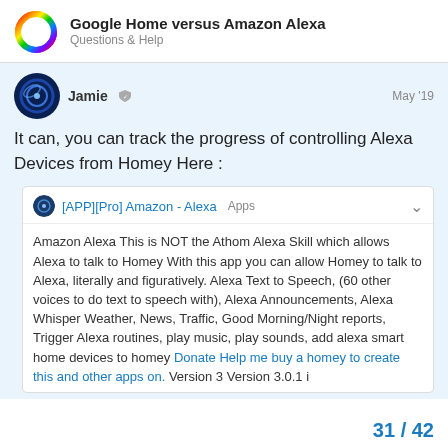Google Home versus Amazon Alexa
Questions & Help
Jamie  May '19
It can, you can track the progress of controlling Alexa Devices from Homey Here :
[APP][Pro] Amazon - Alexa  Apps
Amazon Alexa This is NOT the Athom Alexa Skill which allows Alexa to talk to Homey With this app you can allow Homey to talk to Alexa, literally and figuratively. Alexa Text to Speech, (60 other voices to do text to speech with), Alexa Announcements, Alexa Whisper Weather, News, Traffic, Good Morning/Night reports, Trigger Alexa routines, play music, play sounds, add alexa smart home devices to homey Donate Help me buy a homey to create this and other apps on. Version 3 Version 3.0.1 i
31 / 42